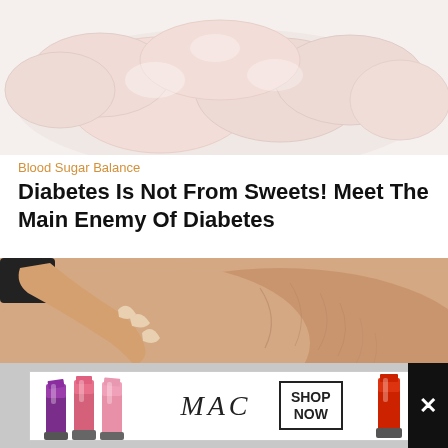[Figure (photo): Raw chicken breasts piled together on a white background]
Blood Sugar Balance
Diabetes Is Not From Sweets! Meet The Main Enemy Of Diabetes
[Figure (photo): Close-up of a person pinching abdominal fat/belly with stretch marks]
[Figure (photo): MAC Cosmetics advertisement banner showing lipsticks with SHOP NOW call to action]